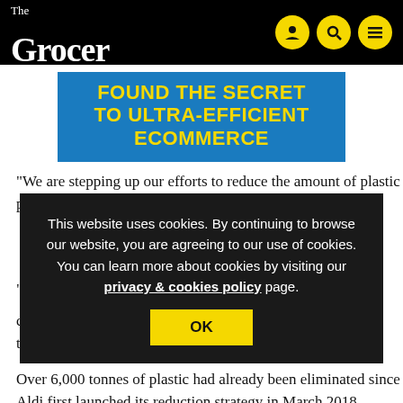The Grocer
[Figure (infographic): Advertisement banner in blue with yellow bold text reading 'FOUND THE SECRET TO ULTRA-EFFICIENT ECOMMERCE']
“We are stepping up our efforts to reduce the amount of plastic packaging used across our business because it is the ri[ght thing to do,” said Aldi UK and] Ire[land CEO Giles Hurley.]
“W[e have made real progress in previous years...] co[mmitting to...] in th[e next...]
This website uses cookies. By continuing to browse our website, you are agreeing to our use of cookies. You can learn more about cookies by visiting our privacy & cookies policy page.
Over 6,000 tonnes of plastic had already been eliminated since Aldi first launched its reduction strategy in March 2018